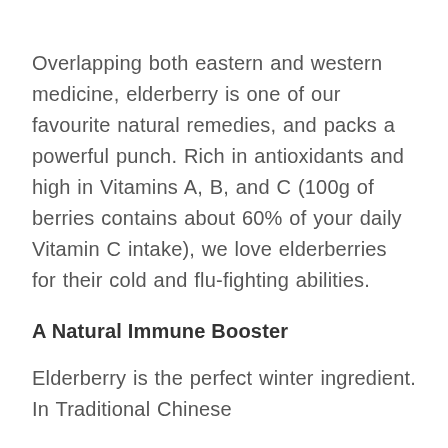Overlapping both eastern and western medicine, elderberry is one of our favourite natural remedies, and packs a powerful punch. Rich in antioxidants and high in Vitamins A, B, and C (100g of berries contains about 60% of your daily Vitamin C intake), we love elderberries for their cold and flu-fighting abilities.
A Natural Immune Booster
Elderberry is the perfect winter ingredient. In Traditional Chinese